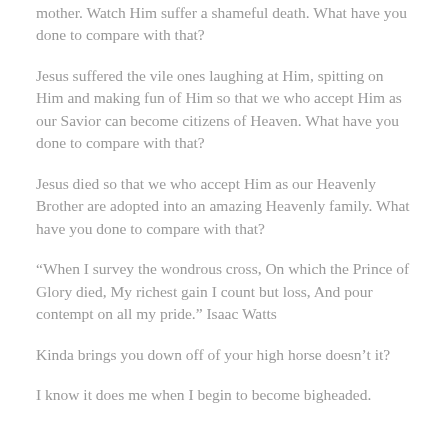mother. Watch Him suffer a shameful death. What have you done to compare with that?
Jesus suffered the vile ones laughing at Him, spitting on Him and making fun of Him so that we who accept Him as our Savior can become citizens of Heaven. What have you done to compare with that?
Jesus died so that we who accept Him as our Heavenly Brother are adopted into an amazing Heavenly family. What have you done to compare with that?
“When I survey the wondrous cross, On which the Prince of Glory died, My richest gain I count but loss, And pour contempt on all my pride.” Isaac Watts
Kinda brings you down off of your high horse doesn’t it?
I know it does me when I begin to become bigheaded.